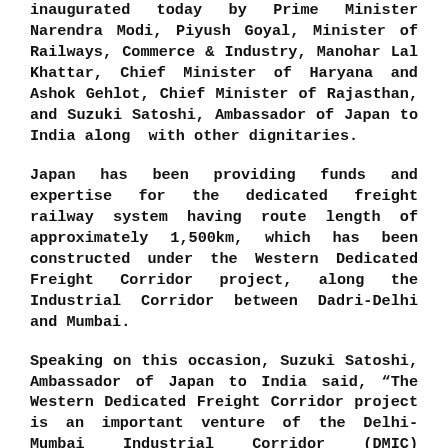inaugurated today by Prime Minister Narendra Modi, Piyush Goyal, Minister of Railways, Commerce & Industry, Manohar Lal Khattar, Chief Minister of Haryana and Ashok Gehlot, Chief Minister of Rajasthan, and Suzuki Satoshi, Ambassador of Japan to India along with other dignitaries.
Japan has been providing funds and expertise for the dedicated freight railway system having route length of approximately 1,500km, which has been constructed under the Western Dedicated Freight Corridor project, along the Industrial Corridor between Dadri-Delhi and Mumbai.
Speaking on this occasion, Suzuki Satoshi, Ambassador of Japan to India said, “The Western Dedicated Freight Corridor project is an important venture of the Delhi-Mumbai Industrial Corridor (DMIC) initiative”.
“This project is an epitome of Japan-India collaboration for comprehensive infrastructure development. It creates India’s largest industrial belt zone by linking industrial parks and